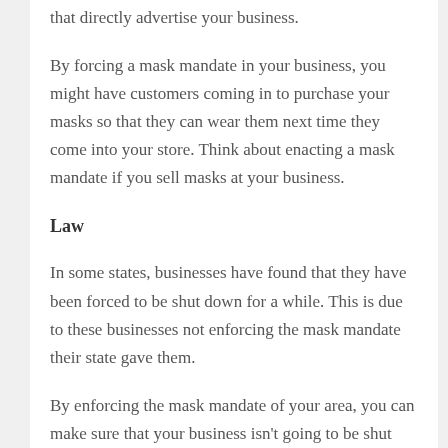that directly advertise your business.
By forcing a mask mandate in your business, you might have customers coming in to purchase your masks so that they can wear them next time they come into your store. Think about enacting a mask mandate if you sell masks at your business.
Law
In some states, businesses have found that they have been forced to be shut down for a while. This is due to these businesses not enforcing the mask mandate their state gave them.
By enforcing the mask mandate of your area, you can make sure that your business isn't going to be shut down because of any legal issues. You can also grow your